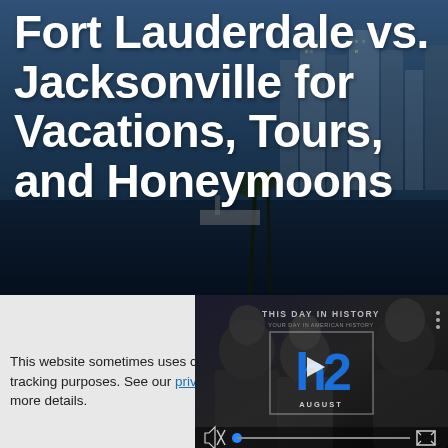[Figure (photo): Hero image of a city waterfront skyline (Fort Lauderdale) with buildings and water, overlaid with dark blue tint]
Fort Lauderdale vs. Jacksonville for Vacations, Tours, and Honeymoons
This website sometimes uses cookies for tracking purposes. See our privacy policy for more details.
[Figure (screenshot): Video widget showing 'THIS DAY IN HISTORY' with H2 logo and August date, with playback controls including mute button and progress bar]